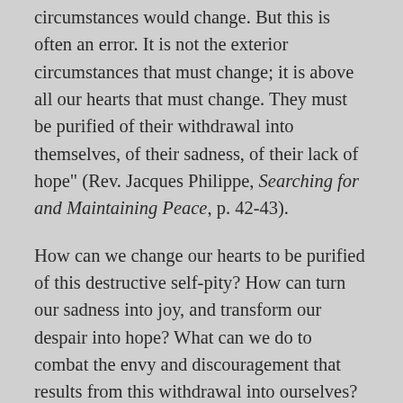circumstances would change. But this is often an error. It is not the exterior circumstances that must change; it is above all our hearts that must change. They must be purified of their withdrawal into themselves, of their sadness, of their lack of hope" (Rev. Jacques Philippe, Searching for and Maintaining Peace, p. 42-43).
How can we change our hearts to be purified of this destructive self-pity? How can turn our sadness into joy, and transform our despair into hope? What can we do to combat the envy and discouragement that results from this withdrawal into ourselves?
When we find ourselves stuck in this negative thinking, we have to find a way to change our mindset to a positive outlook. Instead of focusing on what we don't have, on what we've lost, we must get out of ourselves